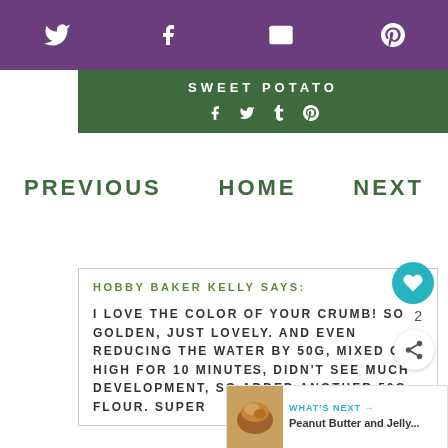Social icons: Twitter, Facebook, Email, Pinterest
SWEET POTATO
Social icons: Facebook, Twitter, Tumblr, Pinterest
PREVIOUS   HOME   NEXT
HOBBY BAKER KELLY SAYS:
I LOVE THE COLOR OF YOUR CRUMB! SO GOLDEN, JUST LOVELY. AND EVEN REDUCING THE WATER BY 50G, MIXED ON HIGH FOR 10 MINUTES, DIDN'T SEE MUCH DEVELOPMENT, SO ADDED ANOTHER 50G FLOUR. SUPER